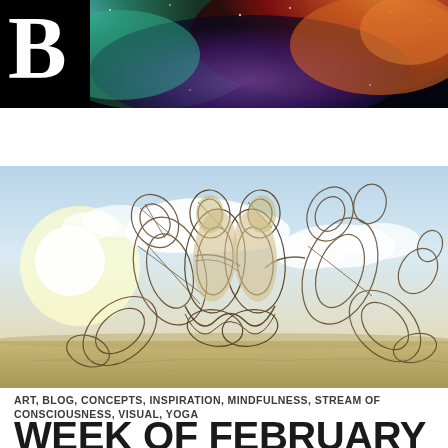[Figure (illustration): Website header with large bold 'B' logo on black background left side, and colorful nebula/space image on right side]
Is Be Wonders, Inc.
[Figure (photo): 3D wire-frame sculpture figures of two human forms connected by a flowing wire structure, set against a sky with clouds and sandy ground]
ART, BLOG, CONCEPTS, INSPIRATION, MINDFULNESS, STREAM OF CONSCIOUSNESS, VISUAL, YOGA
WEEK OF FEBRUARY 18,